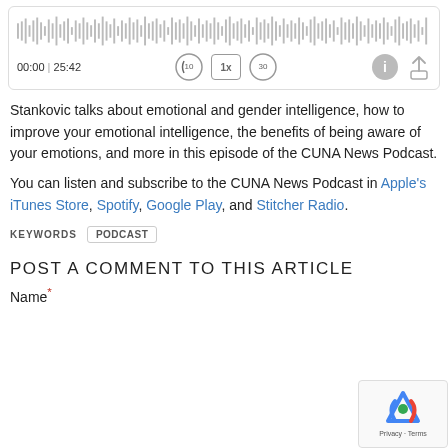[Figure (screenshot): Audio player widget showing waveform, time 00:00 | 25:42, and playback controls]
Stankovic talks about emotional and gender intelligence, how to improve your emotional intelligence, the benefits of being aware of your emotions, and more in this episode of the CUNA News Podcast.
You can listen and subscribe to the CUNA News Podcast in Apple's iTunes Store, Spotify, Google Play, and Stitcher Radio.
KEYWORDS   PODCAST
POST A COMMENT TO THIS ARTICLE
Name*